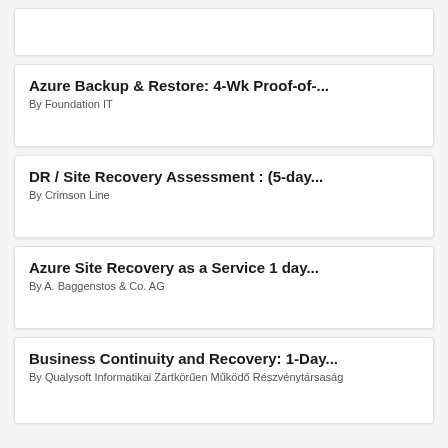Azure Backup & Restore: 4-Wk Proof-of-...
By Foundation IT
DR / Site Recovery Assessment : (5-day...
By Crimson Line
Azure Site Recovery as a Service 1 day...
By A. Baggenstos & Co. AG
Business Continuity and Recovery: 1-Day...
By Qualysoft Informatikai Zártkörűen Működő Részvénytársaság